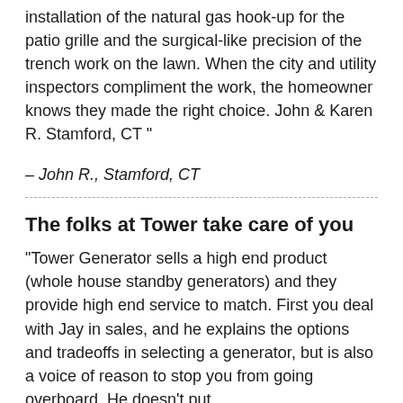for their home. A special thanks for supporting the installation of the natural gas hook-up for the patio grille and the surgical-like precision of the trench work on the lawn. When the city and utility inspectors compliment the work, the homeowner knows they made the right choice. John & Karen R. Stamford, CT "
– John R., Stamford, CT
The folks at Tower take care of you
"Tower Generator sells a high end product (whole house standby generators) and they provide high end service to match. First you deal with Jay in sales, and he explains the options and tradeoffs in selecting a generator, but is also a voice of reason to stop you from going overboard. He doesn't put